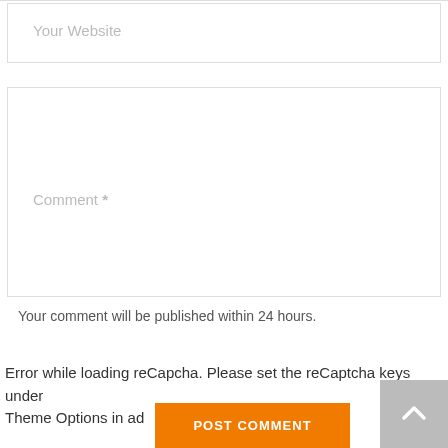Your Website
Comment *
Your comment will be published within 24 hours.
Error while loading reCapcha. Please set the reCaptcha keys under Theme Options in ad
POST COMMENT